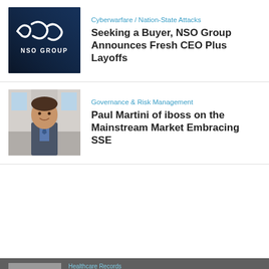[Figure (photo): NSO Group logo on dark blue background]
Cyberwarfare / Nation-State Attacks
Seeking a Buyer, NSO Group Announces Fresh CEO Plus Layoffs
[Figure (photo): Portrait of Paul Martini, smiling man in suit]
Governance & Risk Management
Paul Martini of iboss on the Mainstream Market Embracing SSE
[Figure (photo): Person at computer, partially visible]
Healthcare Records
Evolving Ransomware Threats on Healthcare
Our website uses cookies. Cookies enable us to provide the best experience possible and help us understand how visitors use our website. By browsing healthcareinfosecurity.com, you agree to our use of cookies.